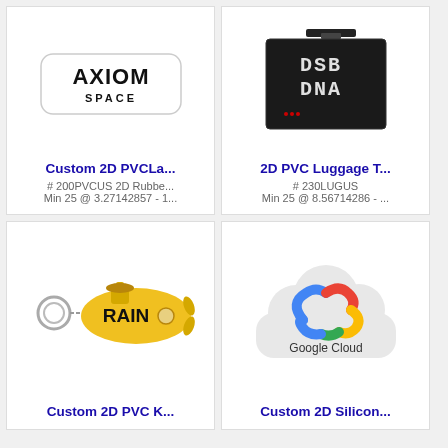[Figure (photo): Axiom Space white PVC label/patch with black logo text]
Custom 2D PVCLa...
# 200PVCUS 2D Rubbe...
Min 25 @ 3.27142857 - 1...
[Figure (photo): DSB DNA black PVC luggage tag with LED-style dot matrix text and black strap]
2D PVC Luggage T...
# 230LUGUS
Min 25 @ 8.56714286 - ...
[Figure (photo): Yellow submarine shaped PVC keychain with RAIN text and metal key ring]
Custom 2D PVC K...
[Figure (photo): Google Cloud white silicone patch with Google Cloud logo and text]
Custom 2D Silicon...